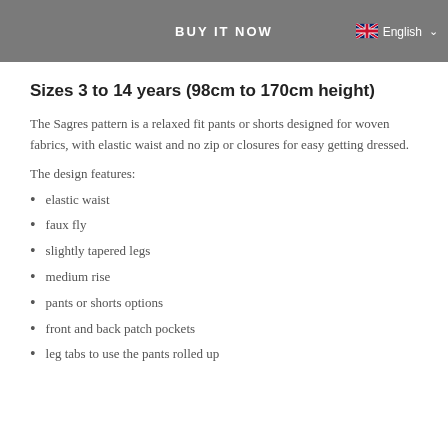BUY IT NOW
Sizes 3 to 14 years (98cm to 170cm height)
The Sagres pattern is a relaxed fit pants or shorts designed for woven fabrics, with elastic waist and no zip or closures for easy getting dressed.
The design features:
elastic waist
faux fly
slightly tapered legs
medium rise
pants or shorts options
front and back patch pockets
leg tabs to use the pants rolled up